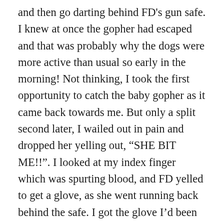and then go darting behind FD's gun safe. I knew at once the gopher had escaped and that was probably why the dogs were more active than usual so early in the morning! Not thinking, I took the first opportunity to catch the baby gopher as it came back towards me. But only a split second later, I wailed out in pain and dropped her yelling out, “SHE BIT ME!!”. I looked at my index finger which was spurting blood, and FD yelled to get a glove, as she went running back behind the safe. I got the glove I’d been using to handle her, but it was fairly useless as she bit through that, getting FD in two different fingers. Not one to give up on anything, FD finally managed to get a good grip where she couldn’t bite through the glove and quickly went to the back door, which I opened so he could